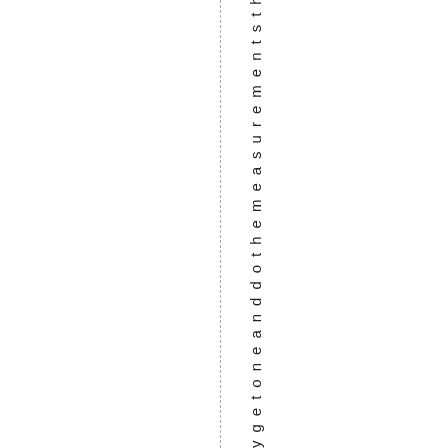ygetoneanddothemeasurementsthe